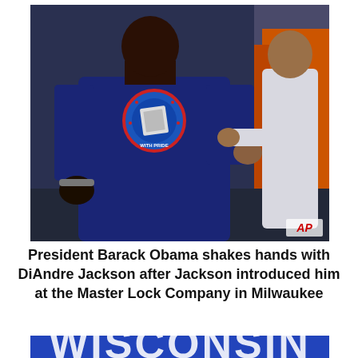[Figure (photo): President Barack Obama shaking hands with DiAndre Jackson at the Master Lock Company in Milwaukee. Jackson is wearing a navy blue t-shirt with a badge/logo. An AP watermark is visible in the bottom right corner of the photo.]
President Barack Obama shakes hands with DiAndre Jackson after Jackson introduced him at the Master Lock Company in Milwaukee
[Figure (photo): Partial photo showing a large blue sign with 'WISCONSIN' text in white, and a person visible at the bottom of the frame.]